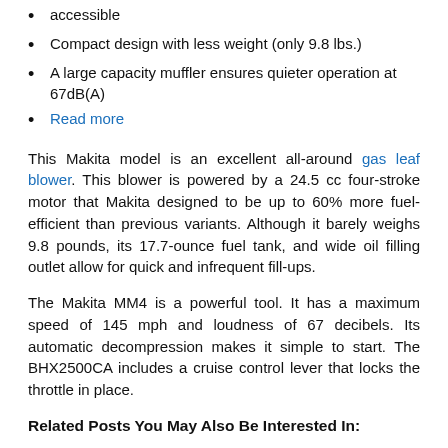accessible
Compact design with less weight (only 9.8 lbs.)
A large capacity muffler ensures quieter operation at 67dB(A)
Read more
This Makita model is an excellent all-around gas leaf blower. This blower is powered by a 24.5 cc four-stroke motor that Makita designed to be up to 60% more fuel-efficient than previous variants. Although it barely weighs 9.8 pounds, its 17.7-ounce fuel tank, and wide oil filling outlet allow for quick and infrequent fill-ups.
The Makita MM4 is a powerful tool. It has a maximum speed of 145 mph and loudness of 67 decibels. Its automatic decompression makes it simple to start. The BHX2500CA includes a cruise control lever that locks the throttle in place.
Related Posts You May Also Be Interested In: